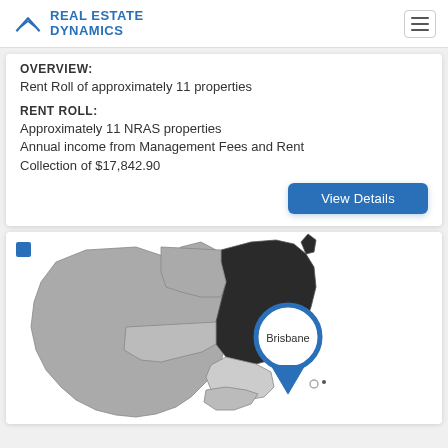REAL ESTATE DYNAMICS
OVERVIEW:
Rent Roll of approximately 11 properties
RENT ROLL:
Approximately 11 NRAS properties
Annual income from Management Fees and Rent Collection of $17,842.90
[Figure (map): Map of Australia highlighting Queensland region with a circular callout bubble pinpointing Brisbane]
Brisbane